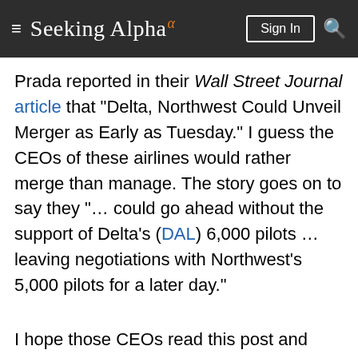Seeking Alpha
Prada reported in their Wall Street Journal article that "Delta, Northwest Could Unveil Merger as Early as Tuesday." I guess the CEOs of these airlines would rather merge than manage. The story goes on to say they "… could go ahead without the support of Delta's (DAL) 6,000 pilots … leaving negotiations with Northwest's 5,000 pilots for a later day."
I hope those CEOs read this post and begin rethinking their business model. They might become more creative in managing passengers' baggage and thereby turn the costly mistakes of mishandled baggage into value-added services. Or simply put, create 'Power Offers' through superior